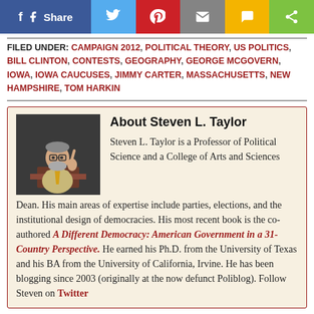[Figure (other): Social sharing bar with Facebook Share, Twitter, Pinterest, Email, SMS, and share buttons]
FILED UNDER: CAMPAIGN 2012, POLITICAL THEORY, US POLITICS, BILL CLINTON, CONTESTS, GEOGRAPHY, GEORGE MCGOVERN, IOWA, IOWA CAUCUSES, JIMMY CARTER, MASSACHUSETTS, NEW HAMPSHIRE, TOM HARKIN
About Steven L. Taylor
Steven L. Taylor is a Professor of Political Science and a College of Arts and Sciences Dean. His main areas of expertise include parties, elections, and the institutional design of democracies. His most recent book is the co-authored A Different Democracy: American Government in a 31-Country Perspective. He earned his Ph.D. from the University of Texas and his BA from the University of California, Irvine. He has been blogging since 2003 (originally at the now defunct Poliblog). Follow Steven on Twitter